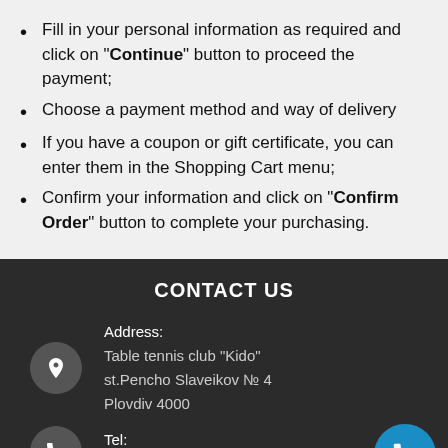Fill in your personal information as required and click on "Continue" button to proceed the payment;
Choose a payment method and way of delivery
If you have a coupon or gift certificate, you can enter them in the Shopping Cart menu;
Confirm your information and click on "Confirm Order" button to complete your purchasing.
CONTACT US
Address:
Table tennis club "Kido"
st.Pencho Slaveikov № 4
Plovdiv 4000
Tel:
+359 892 971520